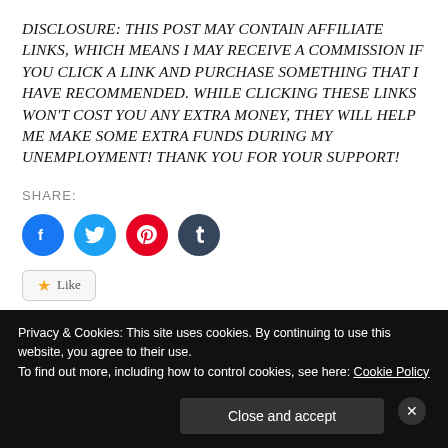DISCLOSURE: THIS POST MAY CONTAIN AFFILIATE LINKS, WHICH MEANS I MAY RECEIVE A COMMISSION IF YOU CLICK A LINK AND PURCHASE SOMETHING THAT I HAVE RECOMMENDED. WHILE CLICKING THESE LINKS WON'T COST YOU ANY EXTRA MONEY, THEY WILL HELP ME MAKE SOME EXTRA FUNDS DURING MY UNEMPLOYMENT! THANK YOU FOR YOUR SUPPORT!
SHARE:
[Figure (other): Four social share icon buttons: Facebook (blue circle with f), Twitter (light blue circle with bird), Pinterest (red circle with P), Tumblr (dark blue circle with t)]
[Figure (other): Like button with star icon and 'Like' text]
Privacy & Cookies: This site uses cookies. By continuing to use this website, you agree to their use.
To find out more, including how to control cookies, see here: Cookie Policy
Close and accept